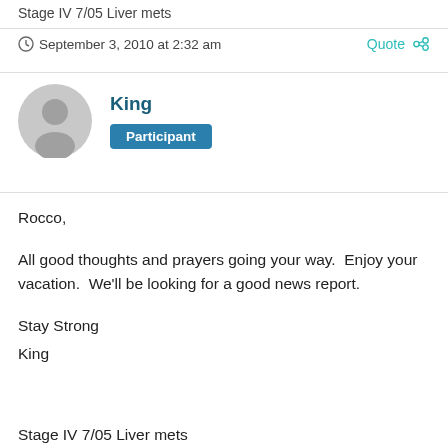Stage IV 7/05 Liver mets
September 3, 2010 at 2:32 am
King
Participant
Rocco,

All good thoughts and prayers going your way.  Enjoy your vacation.  We'll be looking for a good news report.

Stay Strong
King
Stage IV 7/05 Liver mets